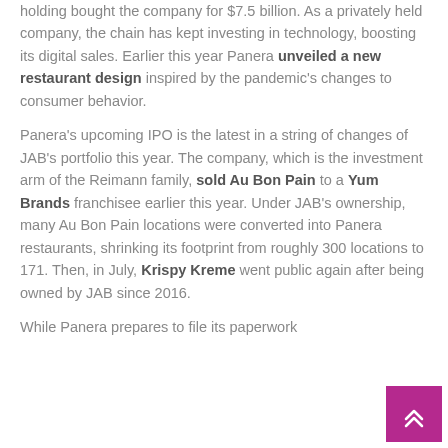holding bought the company for $7.5 billion. As a privately held company, the chain has kept investing in technology, boosting its digital sales. Earlier this year Panera unveiled a new restaurant design inspired by the pandemic's changes to consumer behavior.
Panera's upcoming IPO is the latest in a string of changes of JAB's portfolio this year. The company, which is the investment arm of the Reimann family, sold Au Bon Pain to a Yum Brands franchisee earlier this year. Under JAB's ownership, many Au Bon Pain locations were converted into Panera restaurants, shrinking its footprint from roughly 300 locations to 171. Then, in July, Krispy Kreme went public again after being owned by JAB since 2016.
While Panera prepares to file its paperwork